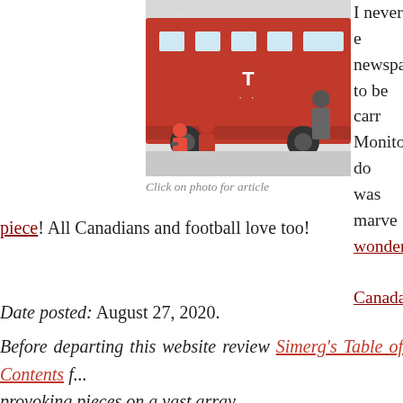[Figure (photo): A red bus (T-Mobile branded) with people standing near it, photographers taking pictures, appears to be a sports team bus]
Click on photo for article
I never e... newspapers... to be carr... Monitor do... was marve... wonderful... Canada's ...
piece! All Canadians and football love too!
Date posted: August 27, 2020.
Before departing this website review Simerg's Table of Contents f... provoking pieces on a vast array ... culture, history and philosophy, and ...